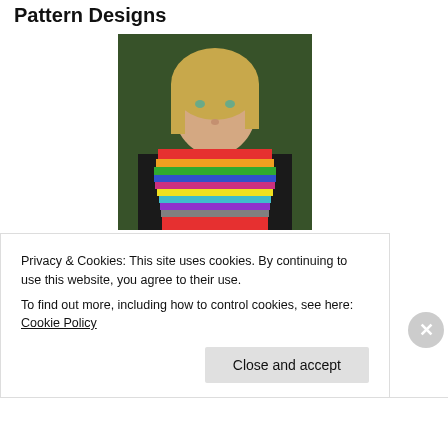Pattern Designs
[Figure (photo): Woman wearing a colorful striped knitted cowl scarf, standing in front of green foliage]
Manic Panic Cowl
[Figure (photo): Close-up of a person wearing a multi-colored knitted cowl, face partially visible]
Privacy & Cookies: This site uses cookies. By continuing to use this website, you agree to their use.
To find out more, including how to control cookies, see here: Cookie Policy
Close and accept